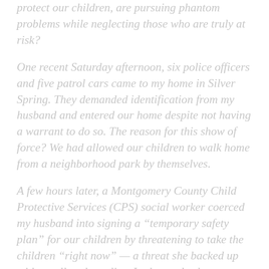protect our children, are pursuing phantom problems while neglecting those who are truly at risk?
One recent Saturday afternoon, six police officers and five patrol cars came to my home in Silver Spring. They demanded identification from my husband and entered our home despite not having a warrant to do so. The reason for this show of force? We had allowed our children to walk home from a neighborhood park by themselves.
A few hours later, a Montgomery County Child Protective Services (CPS) social worker coerced my husband into signing a “temporary safety plan” for our children by threatening to take the children “right now” — a threat she backed up with a call to the police. In the weeks that followed, another worker from the agency appeared at our door with the police and insisted that he did not need a warrant to enter our home. He also interviewed our children at school without a teacher or administrator present.